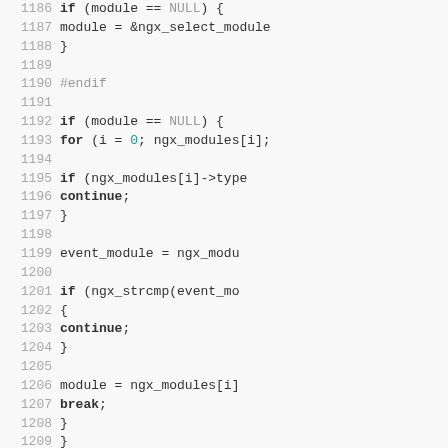Source code listing, lines 1186-1215, C code for nginx module selection logic